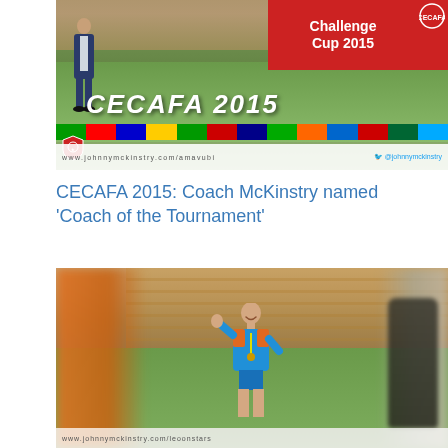[Figure (photo): CECAFA 2015 Challenge Cup event photo. A man in a suit stands on a football pitch sideline with a large 'CECAFA 2015' sign, flags of various nations displayed behind it, and a red banner reading 'Challenge Cup 2015' with the CECAFA logo. Bottom bar shows website www.johnnymckinstry.com/amavubi and Twitter @johnnymckinstry.]
CECAFA 2015: Coach McKinstry named 'Coach of the Tournament'
[Figure (photo): Photo of Coach McKinstry (in blue shirt with orange accents) smiling on a football training pitch, surrounded by players in the foreground (blurred). Stadium seats visible in background. Bottom bar shows website www.johnnymckinstry.com/leoonstars.]